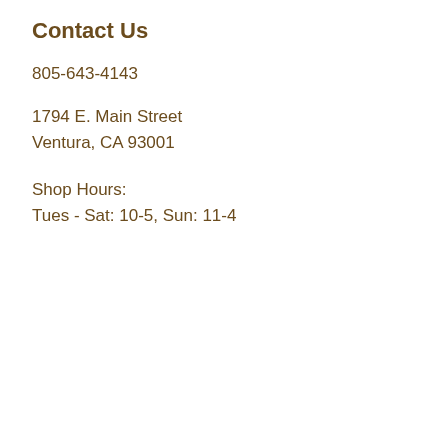Contact Us
805-643-4143
1794 E. Main Street
Ventura, CA 93001
Shop Hours:
Tues - Sat: 10-5, Sun: 11-4